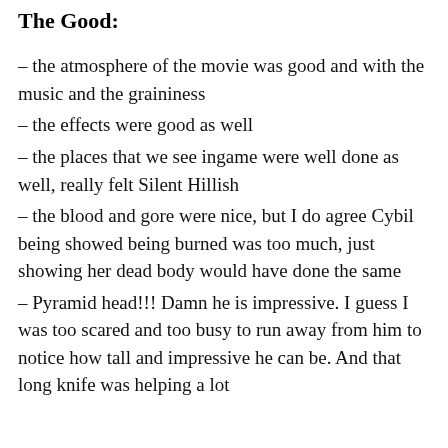The Good:
– the atmosphere of the movie was good and with the music and the graininess
– the effects were good as well
– the places that we see ingame were well done as well, really felt Silent Hillish
– the blood and gore were nice, but I do agree Cybil being showed being burned was too much, just showing her dead body would have done the same
– Pyramid head!!! Damn he is impressive. I guess I was too scared and too busy to run away from him to notice how tall and impressive he can be. And that long knife was helping a lot